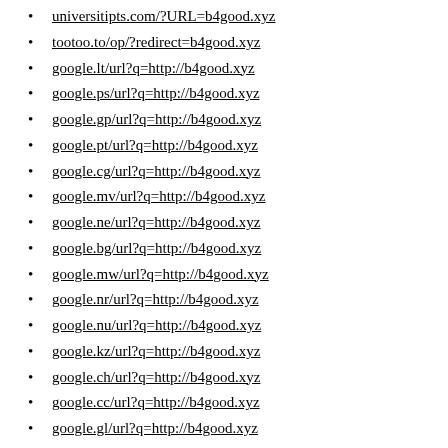universitipts.com/?URL=b4good.xyz
tootoo.to/op/?redirect=b4good.xyz
google.lt/url?q=http://b4good.xyz
google.ps/url?q=http://b4good.xyz
google.gp/url?q=http://b4good.xyz
google.pt/url?q=http://b4good.xyz
google.cg/url?q=http://b4good.xyz
google.mv/url?q=http://b4good.xyz
google.ne/url?q=http://b4good.xyz
google.bg/url?q=http://b4good.xyz
google.mw/url?q=http://b4good.xyz
google.nr/url?q=http://b4good.xyz
google.nu/url?q=http://b4good.xyz
google.kz/url?q=http://b4good.xyz
google.ch/url?q=http://b4good.xyz
google.cc/url?q=http://b4good.xyz
google.gl/url?q=http://b4good.xyz
google.si/url?q=http://b4good.xyz
google.by/url?q=http://b4good.xyz